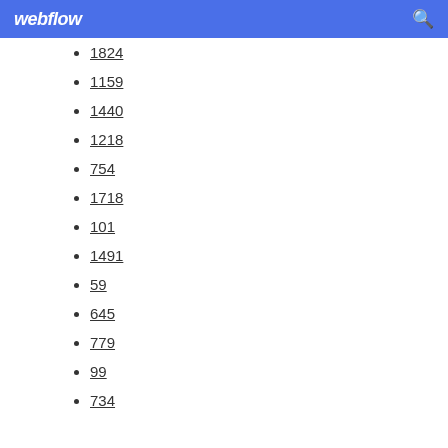webflow
1824
1159
1440
1218
754
1718
101
1491
59
645
779
99
734